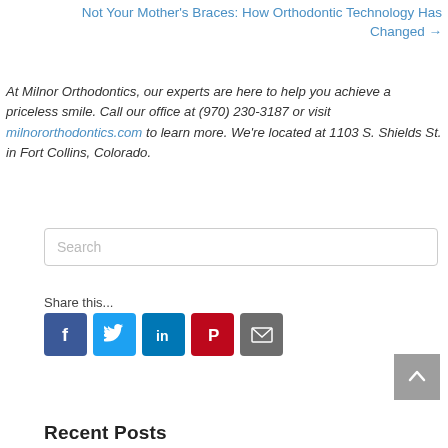Not Your Mother's Braces: How Orthodontic Technology Has Changed →
At Milnor Orthodontics, our experts are here to help you achieve a priceless smile. Call our office at (970) 230-3187 or visit milnororthodontics.com to learn more. We're located at 1103 S. Shields St. in Fort Collins, Colorado.
Search
Share this...
[Figure (infographic): Social media share icons: Facebook (blue), Twitter (light blue), LinkedIn (dark blue), Pinterest (red), Email (gray)]
Recent Posts